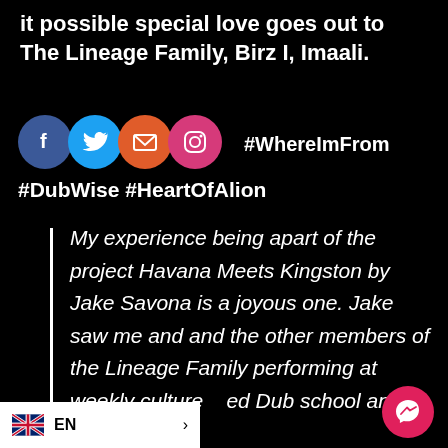it possible special love goes out to The Lineage Family, Birz I, Imaali.
[Figure (screenshot): Social media share icons: Facebook (blue circle), Twitter (light blue circle), Email (orange circle with envelope), Instagram (pink circle). Text '#DubWise #HeartOfAlion' and '#WhereImFrom' hashtags visible.]
My experience being apart of the project Havana Meets Kingston by Jake Savona is a joyous one. Jake saw me and and the other members of the Lineage Family performing at weekly culture [...]ed Dub school and
[Figure (screenshot): Language bar at bottom left showing UK flag, 'EN' label and arrow. Messenger button (red circle with chat icon) at bottom right.]